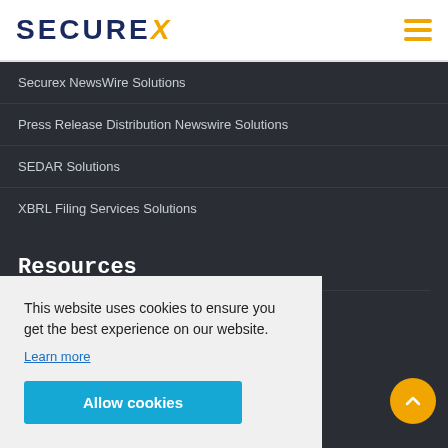SECUREX
Securex NewsWire Solutions
Press Release Distribution Newswire Solutions
SEDAR Solutions
XBRL Filing Services Solutions
Resources
How to EDGAR and File your Documents
Filing a Form S-1 Registration Statement with the SEC Resources
This website uses cookies to ensure you get the best experience on our website.
Learn more
Allow cookies